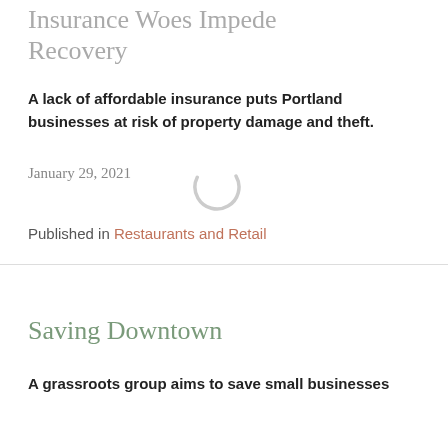Insurance Woes Impede Recovery
A lack of affordable insurance puts Portland businesses at risk of property damage and theft.
January 29, 2021
Published in Restaurants and Retail
Saving Downtown
A grassroots group aims to save small businesses